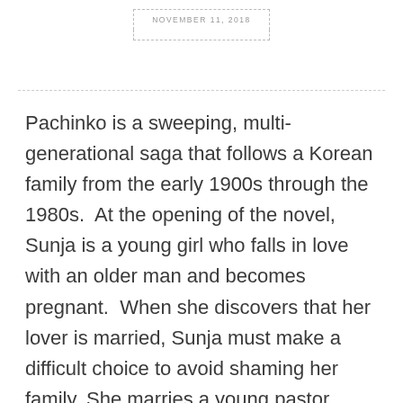NOVEMBER 11, 2018
Pachinko is a sweeping, multi-generational saga that follows a Korean family from the early 1900s through the 1980s.  At the opening of the novel, Sunja is a young girl who falls in love with an older man and becomes pregnant.  When she discovers that her lover is married, Sunja must make a difficult choice to avoid shaming her family. She marries a young pastor staying at her family's boardinghouse, who is willing to raise